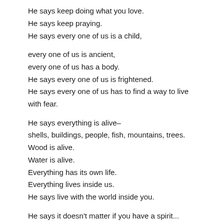He says keep doing what you love.
He says keep praying.
He says every one of us is a child,

every one of us is ancient,
every one of us has a body.
He says every one of us is frightened.
He says every one of us has to find a way to live
with fear.

He says everything is alive—
shells, buildings, people, fish, mountains, trees.
Wood is alive.
Water is alive.
Everything has its own life.
Everything lives inside us.
He says live with the world inside you.

He says it doesn't matter if you have a spirit...